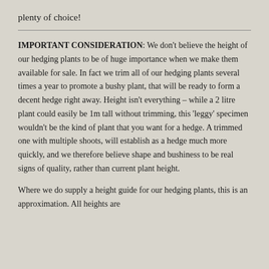plenty of choice!
IMPORTANT CONSIDERATION: We don't believe the height of our hedging plants to be of huge importance when we make them available for sale. In fact we trim all of our hedging plants several times a year to promote a bushy plant, that will be ready to form a decent hedge right away. Height isn't everything – while a 2 litre plant could easily be 1m tall without trimming, this 'leggy' specimen wouldn't be the kind of plant that you want for a hedge. A trimmed one with multiple shoots, will establish as a hedge much more quickly, and we therefore believe shape and bushiness to be real signs of quality, rather than current plant height.
Where we do supply a height guide for our hedging plants, this is an approximation. All heights are